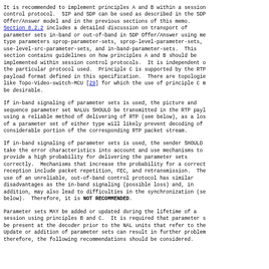It is recommended to implement principles A and B within a session control protocol. SIP and SDP can be used as described in the SDP Offer/Answer model and in the previous sections of this memo. Section 8.2.2 includes a detailed discussion on transport of parameter sets in-band or out-of-band in SDP Offer/Answer using media type parameters sprop-parameter-sets, sprop-level-parameter-sets, use-level-src-parameter-sets, and in-band-parameter-sets. This section contains guidelines on how principles A and B should be implemented within session control protocols. It is independent of the particular protocol used. Principle C is supported by the RTP payload format defined in this specification. There are topologies like Topo-Video-switch-MCU [29] for which the use of principle C may be desirable.
If in-band signaling of parameter sets is used, the picture and sequence parameter set NALUs SHOULD be transmitted in the RTP payload using a reliable method of delivering of RTP (see below), as a loss of a parameter set of either type will likely prevent decoding of a considerable portion of the corresponding RTP packet stream.
If in-band signaling of parameter sets is used, the sender SHOULD take the error characteristics into account and use mechanisms to provide a high probability for delivering the parameter sets correctly. Mechanisms that increase the probability for a correct reception include packet repetition, FEC, and retransmission. The use of an unreliable, out-of-band control protocol has similar disadvantages as the in-band signaling (possible loss) and, in addition, may also lead to difficulties in the synchronization (see below). Therefore, it is NOT RECOMMENDED.
Parameter sets MAY be added or updated during the lifetime of a session using principles B and C. It is required that parameter sets be present at the decoder prior to the NAL units that refer to them. Update or addition of parameter sets can result in further problems; therefore, the following recommendations should be considered.